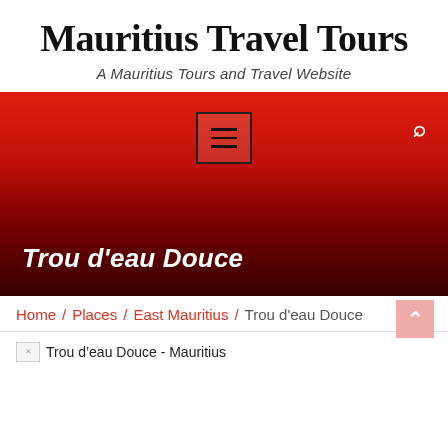Mauritius Travel Tours
A Mauritius Tours and Travel Website
[Figure (screenshot): Red navigation bar with hamburger menu button and search icon]
Trou d'eau Douce
Home / Places / East Mauritius / Trou d'eau Douce
[Figure (photo): Broken image placeholder with alt text: Trou d'eau Douce - Mauritius]